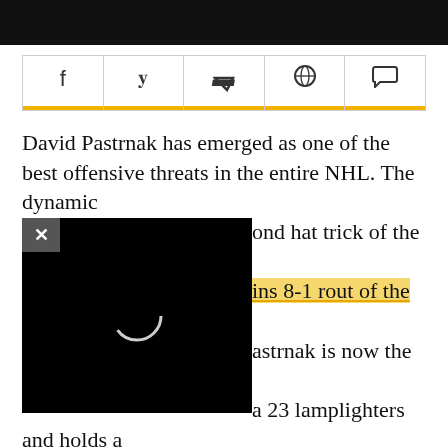[Figure (photo): Dark photo strip at the top of the page showing a person]
[Figure (infographic): Social sharing bar with icons for Facebook, Twitter, Flipboard, WhatsApp, and comment/chat]
[Figure (screenshot): Black video overlay with X close button and loading spinner circle in center]
David Pastrnak has emerged as one of the best offensive threats in the entire NHL. The dynamic [obscured]ond hat trick of the season on [obscured]ins 8-1 rout of the rival [obscured]astrnak is now the league's [obscured]a 23 lamplighters and holds a [obscured]monton's Leon Draisaitl. [obscured]y for the Bruins is that Pastrnak is emerging as a more complete player than in years prior. Bruins head coach Bruce Cassidy expanded on that in the Bruins locker room on Tuesday night.